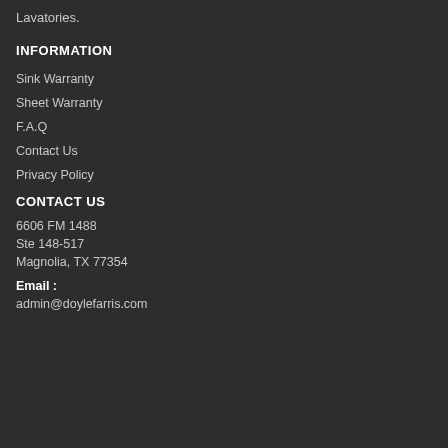Lavatories.
INFORMATION
Sink Warranty
Sheet Warranty
F.A.Q
Contact Us
Privacy Policy
CONTACT US
6606 FM 1488
Ste 148-517
Magnolia, TX 77354
Email :
admin@doylefarris.com